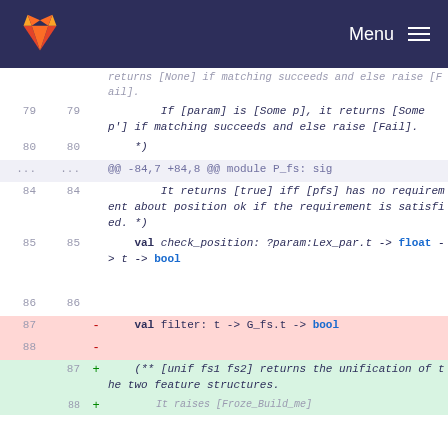GitLab navbar with logo and Menu
Code diff view showing OCaml module signature changes. Lines 79-88 context and removed lines, lines 87+ added lines with unification comment.